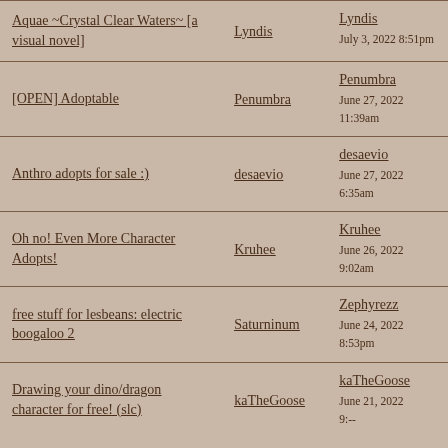| Title | Author | Last Reply |
| --- | --- | --- |
| Aquae ~Crystal Clear Waters~ [a visual novel] | Lyndis | Lyndis
July 3, 2022 8:51pm |
| [OPEN] Adoptable | Penumbra | Penumbra
June 27, 2022
11:39am |
| Anthro adopts for sale :) | desaevio | desaevio
June 27, 2022
6:35am |
| Oh no! Even More Character Adopts! | Kruhee | Kruhee
June 26, 2022
9:02am |
| free stuff for lesbeans: electric boogaloo 2 | Saturninum | Zephyrezz
June 24, 2022
8:53pm |
| Drawing your dino/dragon character for free! (slc) | kaTheGoose | kaTheGoose
June 21, 2022
9:-- |